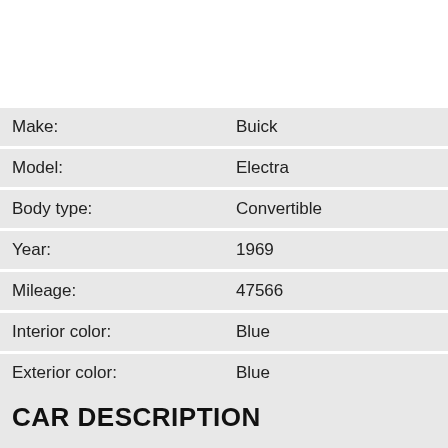| Field | Value |
| --- | --- |
| Make: | Buick |
| Model: | Electra |
| Body type: | Convertible |
| Year: | 1969 |
| Mileage: | 47566 |
| Interior color: | Blue |
| Exterior color: | Blue |
| Transmission: | Auto |
| Engine: | 400 |
CAR DESCRIPTION